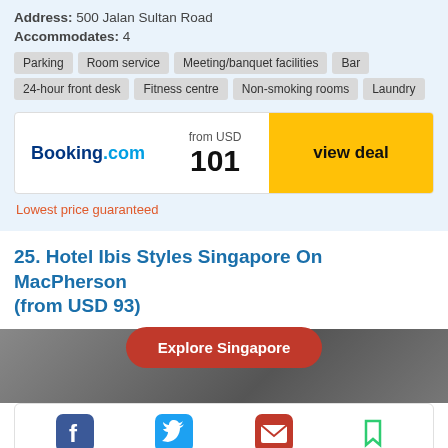Address: 500 Jalan Sultan Road
Accommodates: 4
Parking
Room service
Meeting/banquet facilities
Bar
24-hour front desk
Fitness centre
Non-smoking rooms
Laundry
[Figure (other): Booking.com widget showing price from USD 101 with view deal button]
Lowest price guaranteed
25. Hotel Ibis Styles Singapore On MacPherson (from USD 93)
[Figure (other): Explore Singapore red button]
[Figure (other): Hotel photo strip in grey tones]
[Figure (other): Social share icons: Facebook, Twitter, Email, Bookmark]